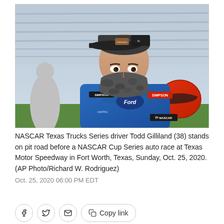[Figure (photo): NASCAR driver Todd Gilliland wearing a blue racing suit with Ford and Simpson logos, a camouflage face mask, and a grey/black cap, standing on pit road. A red helmet is visible in the background, along with grandstands.]
NASCAR Texas Trucks Series driver Todd Gilliland (38) stands on pit road before a NASCAR Cup Series auto race at Texas Motor Speedway in Fort Worth, Texas, Sunday, Oct. 25, 2020. (AP Photo/Richard W. Rodriguez)
Oct. 25, 2020 06:00 PM EDT